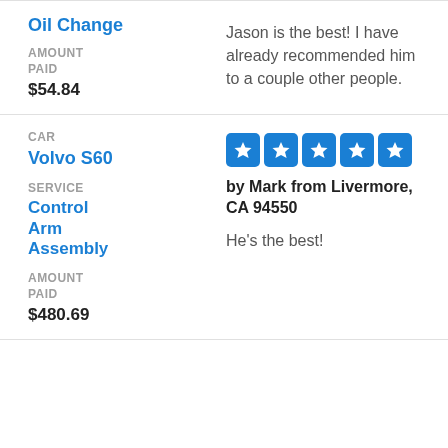Oil Change
AMOUNT PAID
$54.84
Jason is the best! I have already recommended him to a couple other people.
CAR
Volvo S60
SERVICE
Control Arm Assembly
AMOUNT PAID
$480.69
★★★★★ by Mark from Livermore, CA 94550
He's the best!